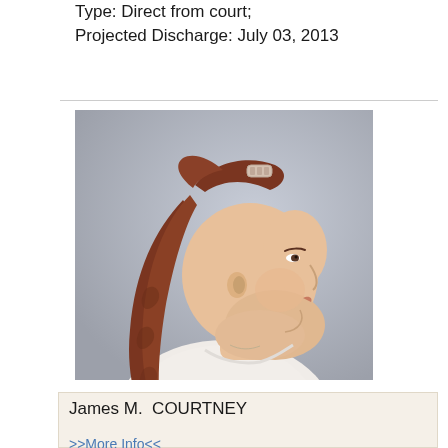Type: Direct from court;
Projected Discharge: July 03, 2013
[Figure (photo): Profile/side view mugshot photo of a woman with long reddish-brown hair pulled up with a clip, facing right, light background]
James M.  COURTNEY
>>More Info<<